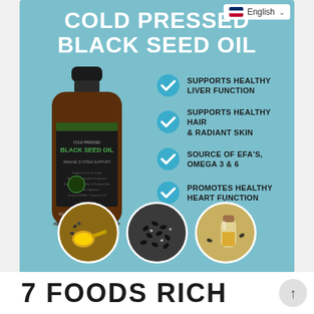[Figure (screenshot): Language selector bar showing English with US flag and dropdown arrow]
COLD PRESSED BLACK SEED OIL
[Figure (photo): Dark amber glass bottle of Cold Pressed Black Seed Oil supplement with 60 capsules label showing plant-based, immune system support]
SUPPORTS HEALTHY LIVER FUNCTION
SUPPORTS HEALTHY HAIR & RADIANT SKIN
SOURCE OF EFA'S, OMEGA 3 & 6
PROMOTES HEALTHY HEART FUNCTION
[Figure (photo): Three circular photos showing golden oil in spoon, black seeds, and oil in glass bottle]
7 FOODS RICH